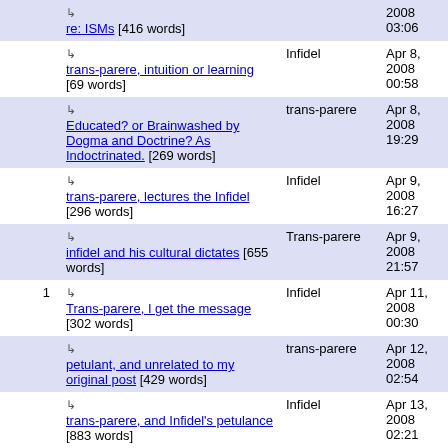|  | Thread | Author | Date |
| --- | --- | --- | --- |
|  | ↳ re: ISMs [416 words] |  | 2008 03:06 |
|  | ↳ trans-parere, intuition or learning [69 words] | Infidel | Apr 8, 2008 00:58 |
|  | ↳ Educated? or Brainwashed by Dogma and Doctrine? As Indoctrinated. [269 words] | trans-parere | Apr 8, 2008 19:29 |
|  | ↳ trans-parere, lectures the Infidel [296 words] | Infidel | Apr 9, 2008 16:27 |
|  | ↳ infidel and his cultural dictates [655 words] | Trans-parere | Apr 9, 2008 21:57 |
| 1 | ↳ Trans-parere, I get the message [302 words] | Infidel | Apr 11, 2008 00:30 |
|  | ↳ petulant, and unrelated to my original post [429 words] | trans-parere | Apr 12, 2008 02:54 |
|  | ↳ trans-parere, and Infidel's petulance [883 words] | Infidel | Apr 13, 2008 02:21 |
|  | ↳ farewell infidel and good bye... | trans-parere | Apr 14, 2008 |